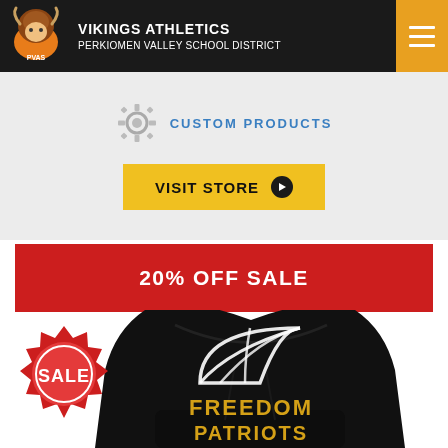VIKINGS ATHLETICS PERKIOMEN VALLEY SCHOOL DISTRICT
CUSTOM PRODUCTS
VISIT STORE
20% OFF SALE
[Figure (photo): Sale badge starburst with text SALE in red and pink]
[Figure (photo): Black hoodie sweatshirt with FREEDOM PATRIOTS text and basketball graphic in gold and white]